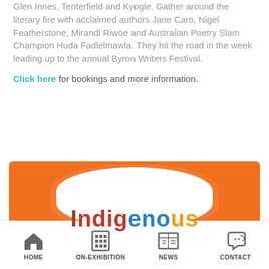Glen Innes, Tenterfield and Kyogle. Gather around the literary fire with acclaimed authors Jane Caro, Nigel Featherstone, Mirandi Riwoe and Australian Poetry Slam Champion Huda Fadlelmawla. They hit the road in the week leading up to the annual Byron Writers Festival.
Click here for bookings and more information.
[Figure (illustration): Orange banner with a white blob shape in the centre and colourful decorative text reading 'Indigenous']
HOME | ON-EXHIBITION | NEWS | CONTACT